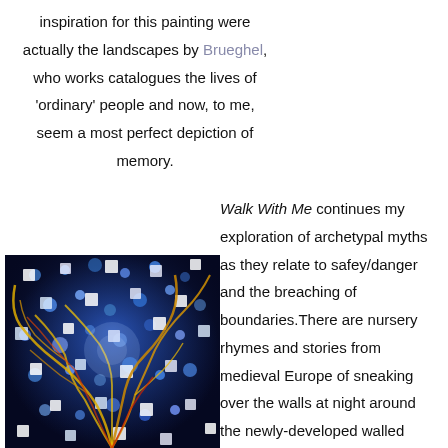inspiration for this painting were actually the landscapes by Brueghel, who works catalogues the lives of 'ordinary' people and now, to me, seem a most perfect depiction of memory.
Walk With Me continues my exploration of archetypal myths as they relate to safey/danger and the breaching of boundaries.There are nursery rhymes and stories from medieval Europe of sneaking over the walls at night around the newly-developed walled towns/castles into the unguarded country that surrounded them. In fairytales, it is often in forests that most dreadful and terrifying events happen,
[Figure (photo): Abstract colorful painting with blue, white, yellow and red tones showing organic branching forms resembling neurons or tree roots on a dark background.]